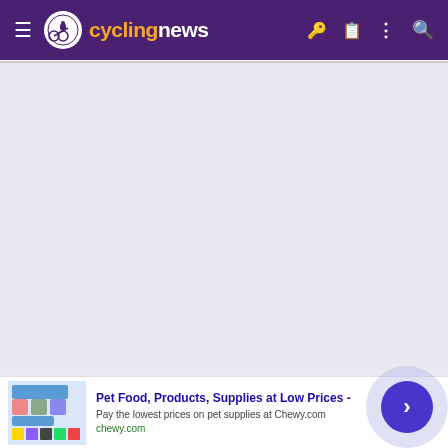cyclingnews
[Figure (screenshot): Large gray content area placeholder]
Electress
[Figure (screenshot): Advertisement banner: Pet Food, Products, Supplies at Low Prices - chewy.com]